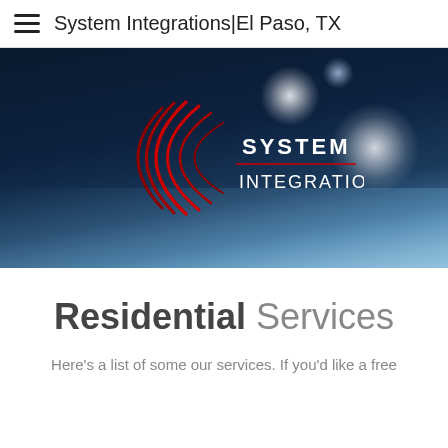System Integrations|El Paso, TX
[Figure (logo): System Integrations company logo with red concentric arcs on a dark blue bokeh background. Logo shows red arc design on the left and white text 'SYSTEM INTEGRATIONS' on the right.]
Residential Services
Here's a list of some our services. If you'd like a free